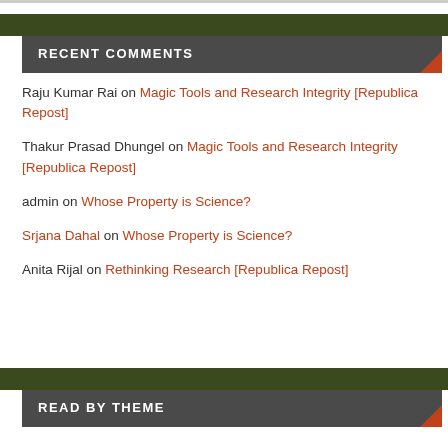RECENT COMMENTS
Raju Kumar Rai on Magic Tools and Research Integrity [Republica Repost]
Thakur Prasad Dhungel on Magic Tools and Research Integrity [Republica Repost]
admin on Whose Property is Science?
Srjana Dahal on Whose Property is Science?
Anita Rijal on Rethinking Research [Republica Repost]
READ BY THEME